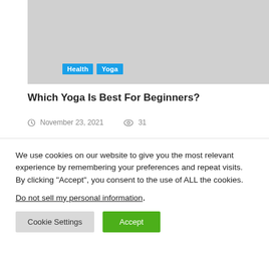[Figure (photo): Gray placeholder image for article thumbnail, with Health and Yoga category tags overlaid]
Which Yoga Is Best For Beginners?
November 23, 2021   31
[Figure (photo): Gray placeholder image for second article thumbnail]
We use cookies on our website to give you the most relevant experience by remembering your preferences and repeat visits. By clicking “Accept”, you consent to the use of ALL the cookies.
Do not sell my personal information.
Cookie Settings   Accept